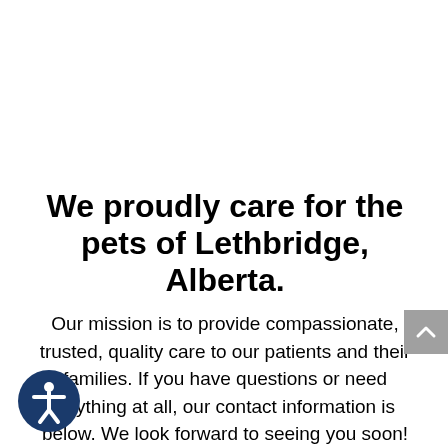We proudly care for the pets of Lethbridge, Alberta.
Our mission is to provide compassionate, trusted, quality care to our patients and their families. If you have questions or need anything at all, our contact information is below. We look forward to seeing you soon!